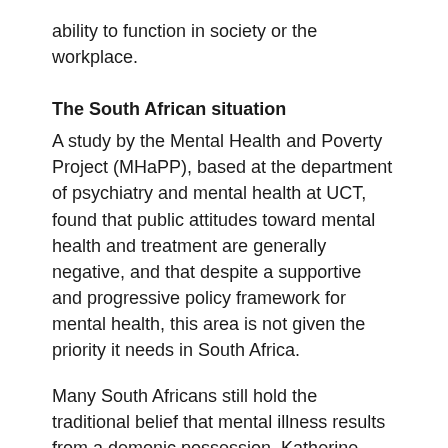ability to function in society or the workplace.
The South African situation
A study by the Mental Health and Poverty Project (MHaPP), based at the department of psychiatry and mental health at UCT, found that public attitudes toward mental health and treatment are generally negative, and that despite a supportive and progressive policy framework for mental health, this area is not given the priority it needs in South Africa.
Many South Africans still hold the traditional belief that mental illness results from a demonic possession. Katherine Eval, who facilitates a support